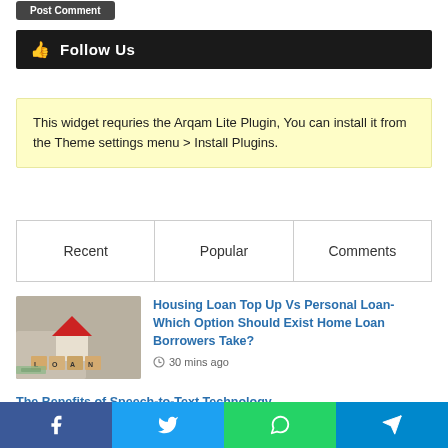Post Comment
Follow Us
This widget requries the Arqam Lite Plugin, You can install it from the Theme settings menu > Install Plugins.
Recent	Popular	Comments
Housing Loan Top Up Vs Personal Loan- Which Option Should Exist Home Loan Borrowers Take?
30 mins ago
The Benefits of Speech-to-Text Technology
Facebook  Twitter  WhatsApp  Telegram